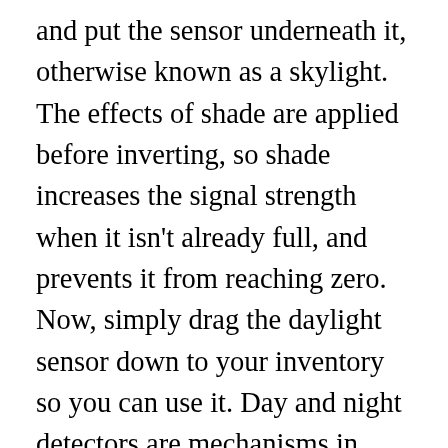and put the sensor underneath it, otherwise known as a skylight. The effects of shade are applied before inverting, so shade increases the signal strength when it isn't already full, and prevents it from reaching zero. Now, simply drag the daylight sensor down to your inventory so you can use it. Day and night detectors are mechanisms in which allows for the player to detect what time of day it is. 99% Upvoted. Daylight Sensors weaken at dusk and dawn (can emit redstone 1-4 blocks), and are at full power at noon (can emit redstone 15 blocks), thus making traps for players if they mine blocks. A Daylight Sensor is a redstone block in Minecraft. Please re-enable JavaScript